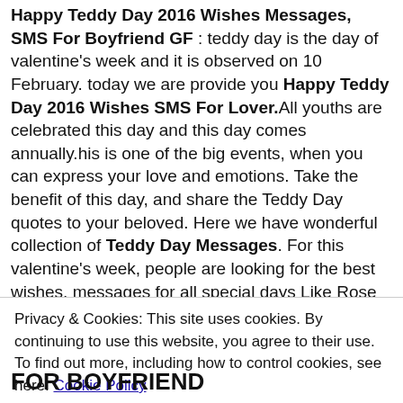Happy Teddy Day 2016 Wishes Messages, SMS For Boyfriend GF : teddy day is the day of valentine's week and it is observed on 10 February. today we are provide you Happy Teddy Day 2016 Wishes SMS For Lover.All youths are celebrated this day and this day comes annually.his is one of the big events, when you can express your love and emotions. Take the benefit of this day, and share the Teddy Day quotes to your beloved. Here we have wonderful collection of Teddy Day Messages. For this valentine's week, people are looking for the best wishes, messages for all special days Like Rose Day, Chocolate Day, and Hug Day and so on.Now it's time to gives Teddy to your loved ones that bears your love to your loved ones. Everyone knows that women likes' Teddy bears so much and they always keep them in their bedroom with good memories.All
Privacy & Cookies: This site uses cookies. By continuing to use this website, you agree to their use. To find out more, including how to control cookies, see here: Cookie Policy
Close and accept
FOR BOYFRIEND